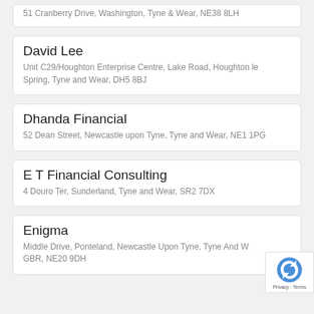51 Cranberry Drive, Washington, Tyne & Wear, NE38 8LH
David Lee
Unit C29/Houghton Enterprise Centre, Lake Road, Houghton le Spring, Tyne and Wear, DH5 8BJ
Dhanda Financial
52 Dean Street, Newcastle upon Tyne, Tyne and Wear, NE1 1PG
E T Financial Consulting
4 Douro Ter, Sunderland, Tyne and Wear, SR2 7DX
Enigma
Middle Drive, Ponteland, Newcastle Upon Tyne, Tyne And W... GBR, NE20 9DH